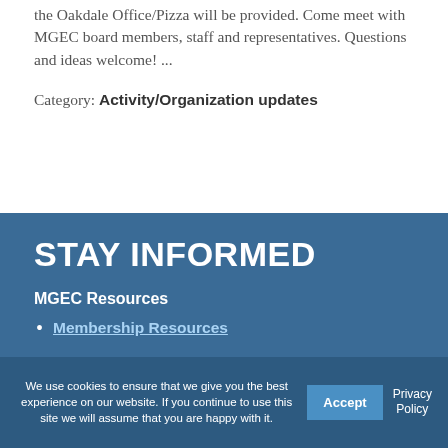the Oakdale Office/Pizza will be provided. Come meet with MGEC board members, staff and representatives. Questions and ideas welcome! ...
Category: Activity/Organization updates
STAY INFORMED
MGEC Resources
Membership Resources
We use cookies to ensure that we give you the best experience on our website. If you continue to use this site we will assume that you are happy with it.
Accept
Privacy Policy